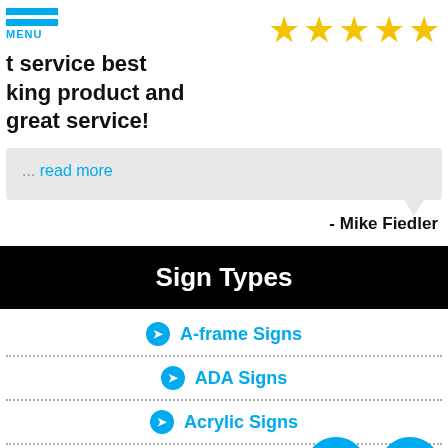MENU
t service best king product and great service!
[Figure (illustration): Five gold/yellow star rating icons in a row]
... read more
- Mike Fiedler
Sign Types
A-frame Signs
ADA Signs
Acrylic Signs
Address Signs
[Figure (illustration): Phone and envelope contact icon circles in cyan/blue]